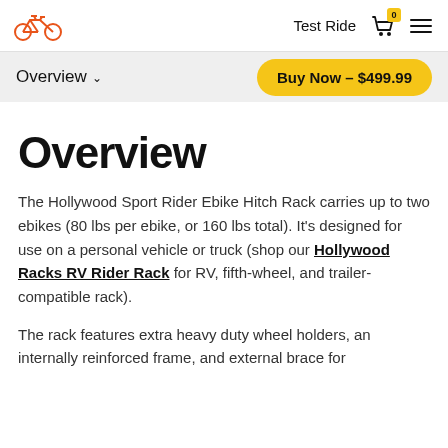Test Ride
Overview
Buy Now - $499.99
Overview
The Hollywood Sport Rider Ebike Hitch Rack carries up to two ebikes (80 lbs per ebike, or 160 lbs total). It's designed for use on a personal vehicle or truck (shop our Hollywood Racks RV Rider Rack for RV, fifth-wheel, and trailer-compatible rack).
The rack features extra heavy duty wheel holders, an internally reinforced frame, and external brace for